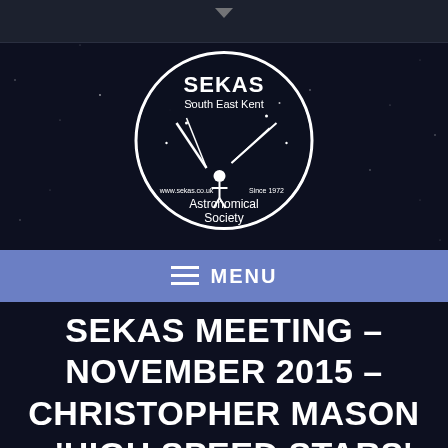[Figure (logo): SEKAS South East Kent Astronomical Society circular logo with telescope illustration, www.sekas.co.uk, Since 1972]
≡ MENU
SEKAS MEETING – NOVEMBER 2015 – CHRISTOPHER MASON – 'HIGH SPEED STARS'.